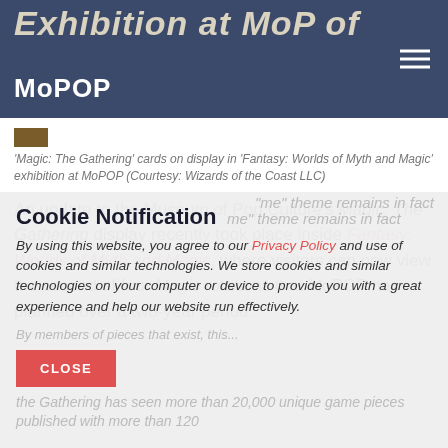Exhibition at MoP of MoPOP
[Figure (photo): Small thumbnail image of Magic: The Gathering cards]
'Magic: The Gathering' cards on display in 'Fantasy: Worlds of Myth and Magic' exhibition at MoPOP (Courtesy: Wizards of the Coast LLC)
An update to the Museum of Pop Culture's Magic: The Gathering display recently took place inside Fantasy: Worlds of Myth and Magic, where visitors can now view the second of four Magic rotations that MoPOP has planned over a two-year period.
Cookie Notification
By using this website, you agree to our Privacy Policy and use of cookies and similar technologies. We store cookies and similar technologies on your computer or device to provide you with a great experience and help our website run effectively.
CLOSE
the Gathering has seen more than 20,000 unique game pieces published with more than 120